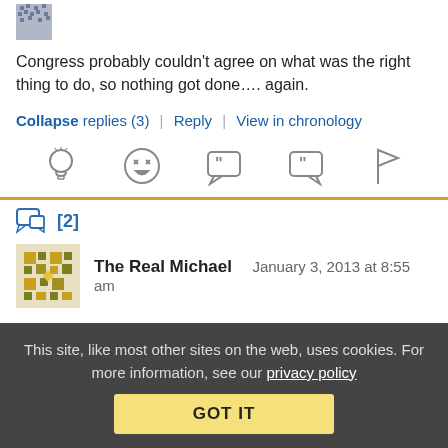Congress probably couldn't agree on what was the right thing to do, so nothing got done…. again.
Collapse replies (3) | Reply | View in chronology
[Figure (infographic): Row of five reaction/action icons: lightbulb (insightful), laughing face (funny), left-quote speech bubble, right-quote speech bubble, flag (report).]
[2]
The Real Michael   January 3, 2013 at 8:55 am
This site, like most other sites on the web, uses cookies. For more information, see our privacy policy
GOT IT